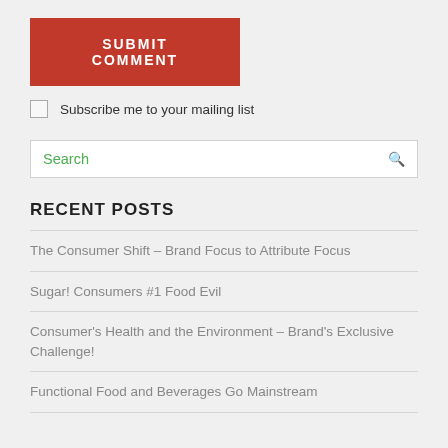SUBMIT COMMENT
Subscribe me to your mailing list
Search
RECENT POSTS
The Consumer Shift – Brand Focus to Attribute Focus
Sugar! Consumers #1 Food Evil
Consumer's Health and the Environment – Brand's Exclusive Challenge!
Functional Food and Beverages Go Mainstream